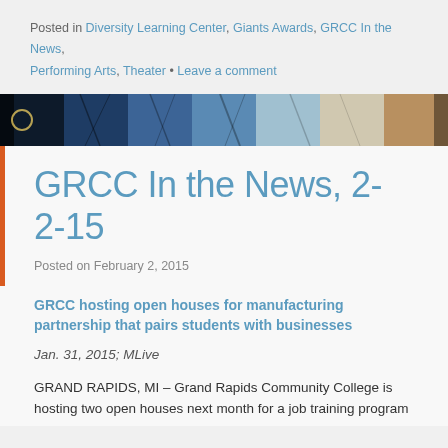Posted in Diversity Learning Center, Giants Awards, GRCC In the News, Performing Arts, Theater • Leave a comment
[Figure (photo): Banner photo strip showing trees with bare branches against a blue sky, with dark panels on left and right sides]
GRCC In the News, 2-2-15
Posted on February 2, 2015
GRCC hosting open houses for manufacturing partnership that pairs students with businesses
Jan. 31, 2015; MLive
GRAND RAPIDS, MI – Grand Rapids Community College is hosting two open houses next month for a job training program